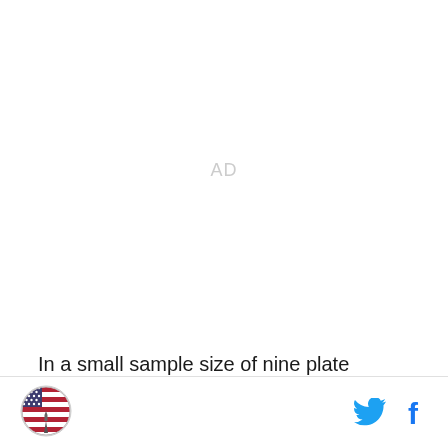[Figure (other): Advertisement placeholder area with 'AD' label in light gray]
In a small sample size of nine plate appearances as a sub this season, Sanchez is 3 for 9 so far in 2019. He'll
[Figure (logo): Circular logo with American flag and monument, site branding]
[Figure (other): Twitter bird icon and Facebook f icon social sharing buttons]